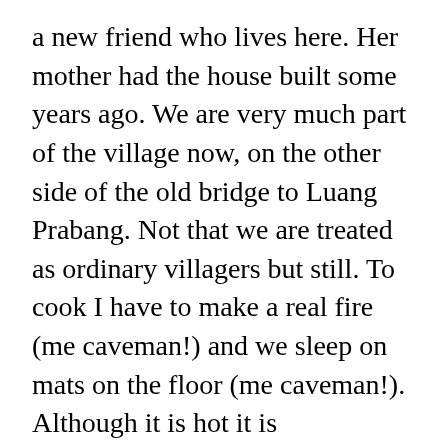a new friend who lives here. Her mother had the house built some years ago. We are very much part of the village now, on the other side of the old bridge to Luang Prabang. Not that we are treated as ordinary villagers but still. To cook I have to make a real fire (me caveman!) and we sleep on mats on the floor (me caveman!). Although it is hot it is surprisingly bearable during the night. The simple house is more cleverly built than expected.
I woke up with the message of a close buddy of mine in my phone. He currently